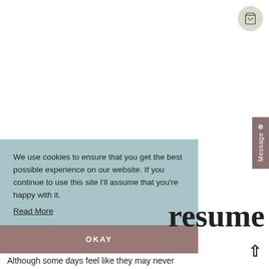[Figure (screenshot): Shopping cart icon in a round light green/grey button in the top right corner of the page]
[Figure (screenshot): Vertical 'Message' tab on the right side with a grey dot, dark mauve background, white text]
We use cookies to ensure that you get the best possible experience on our website. If you continue to use this site I'll assume that you're happy with it.
Read More
OKAY
resume
Although some days feel like they may never